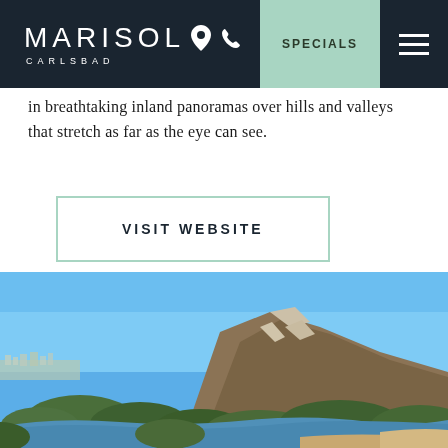MARISOL CARLSBAD — navigation bar with location pin, phone icon, SPECIALS button, and hamburger menu
in breathtaking inland panoramas over hills and valleys that stretch as far as the eye can see.
VISIT WEBSITE
[Figure (photo): Panoramic landscape photo showing a rocky hill/mountain with clear blue sky, a river or reservoir in the foreground, green shrubs and trees, and a distant city skyline on the left.]